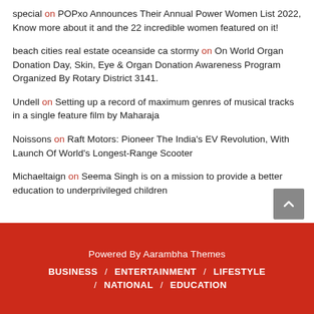special on POPxo Announces Their Annual Power Women List 2022, Know more about it and the 22 incredible women featured on it!
beach cities real estate oceanside ca stormy on On World Organ Donation Day, Skin, Eye & Organ Donation Awareness Program Organized By Rotary District 3141.
Undell on Setting up a record of maximum genres of musical tracks in a single feature film by Maharaja
Noissons on Raft Motors: Pioneer The India's EV Revolution, With Launch Of World's Longest-Range Scooter
Michaeltaign on Seema Singh is on a mission to provide a better education to underprivileged children
Powered By Aarambha Themes / BUSINESS / ENTERTAINMENT / LIFESTYLE / NATIONAL / EDUCATION